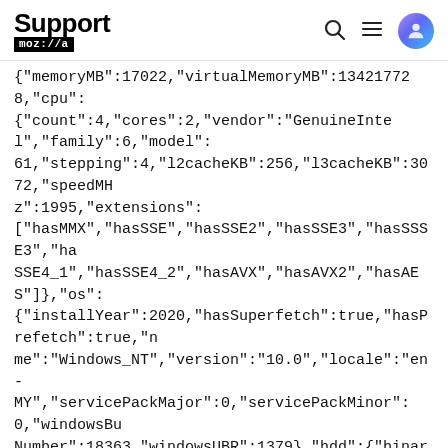Support mozilla//a
{"memoryMB":17022,"virtualMemoryMB":134217728,"cpu":{"count":4,"cores":2,"vendor":"GenuineIntel","family":6,"model":61,"stepping":4,"l2cacheKB":256,"l3cacheKB":3072,"speedMHz":1995,"extensions":["hasMMX","hasSSE","hasSSE2","hasSSE3","hasSSSE3","hasSSE4_1","hasSSE4_2","hasAVX","hasAVX2","hasAES"]},"os":{"installYear":2020,"hasSuperfetch":true,"hasPrefetch":true,"name":"Windows_NT","version":"10.0","locale":"en-MY","servicePackMajor":0,"servicePackMinor":0,"windowsBuildNumber":18363,"windowsUBR":1379},"hdd":{"binary":{"model":"HGST HTS545050A7E680","revision":"GR2OA350","type":"HDD"},"profile":{"model":"HGST HTS545050A7E680","revision":"GR2OA350","type":"HDD"},"system":{"model":"HGST HTS545050A7E680","revision":"GR2OA350","type":"HDD"}},"fx":